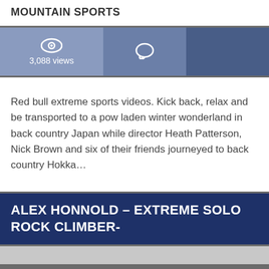MOUNTAIN SPORTS
[Figure (infographic): Stats bar with eye icon showing 3,088 views, speech bubble icon in middle cell, and dark blue cell on right]
Red bull extreme sports videos. Kick back, relax and be transported to a pow laden winter wonderland in back country Japan while director Heath Patterson, Nick Brown and six of their friends journeyed to back country Hokka…
ALEX HONNOLD – EXTREME SOLO ROCK CLIMBER-